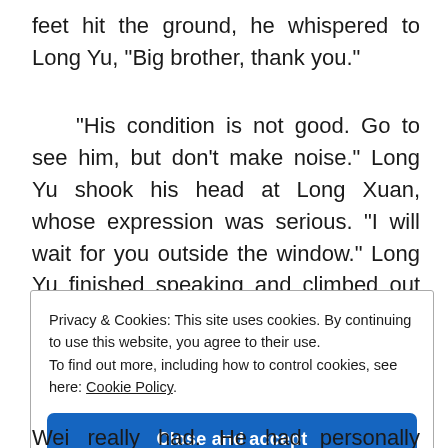feet hit the ground, he whispered to Long Yu, “Big brother, thank you.”
“His condition is not good. Go to see him, but don’t make noise.” Long Yu shook his head at Long Xuan, whose expression was serious. “I will wait for you outside the window.” Long Yu finished speaking and climbed out the window.
Privacy & Cookies: This site uses cookies. By continuing to use this website, you agree to their use.
To find out more, including how to control cookies, see here: Cookie Policy
Close and accept
Wei really had. He had personally heard Luo Wei say that